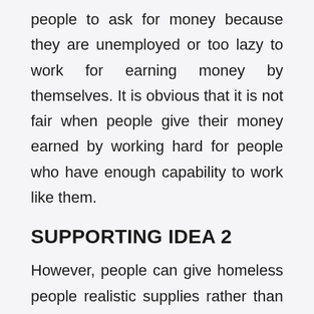people to ask for money because they are unemployed or too lazy to work for earning money by themselves. It is obvious that it is not fair when people give their money earned by working hard for people who have enough capability to work like them.
SUPPORTING IDEA 2
However, people can give homeless people realistic supplies rather than money. If they want to help, they should buy homeless food, clothes, blanket, shoes or anything else which is essential